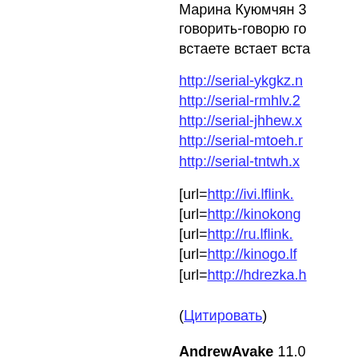Марина Куюмчян 3 говорить-говорю го встаете встает вста
http://serial-ykgkz.n
http://serial-rmhlv.2
http://serial-jhhew.x
http://serial-mtoeh.r
http://serial-tntwh.x
[url=http://ivi.lflink.
[url=http://kinokong
[url=http://ru.lflink.
[url=http://kinogo.lf
[url=http://hdrezka.h
(Цитировать)
AndrewAvake 11.0
ПРОДАЖА И УС